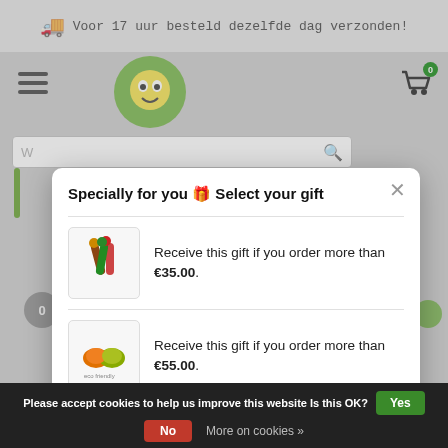Voor 17 uur besteld dezelfde dag verzonden!
[Figure (screenshot): Website with modal gift selection dialog showing three gift items with minimum order amounts of €35.00, €55.00, and €65.00]
Specially for you 🎁 Select your gift
Receive this gift if you order more than €35.00.
Receive this gift if you order more than €55.00.
Receive this gift if you order more than €65.00.
Please accept cookies to help us improve this website Is this OK?  Yes  No  More on cookies »